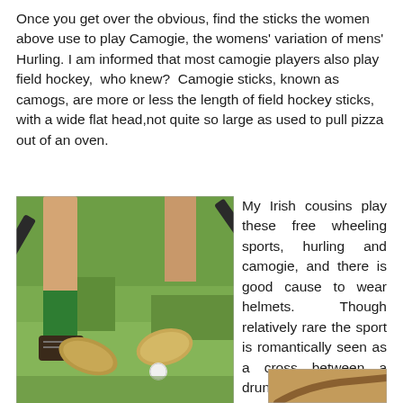Once you get over the obvious, find the sticks the women above use to play Camogie, the womens' variation of mens' Hurling. I am informed that most camogie players also play field hockey,  who knew?  Camogie sticks, known as camogs, are more or less the length of field hockey sticks, with a wide flat head,not quite so large as used to pull pizza out of an oven.
[Figure (photo): Close-up photo of players' legs and hurling sticks (camogs) on a green grass field, with a small ball visible]
My Irish cousins play these free wheeling sports, hurling and camogie, and there is good cause to wear helmets. Though relatively rare the sport is romantically seen as a cross between a drunken brawl and a riot.  In fact, it is another lively variation of ORIGINAL HOCKEY, safe enough to wear no shin pads  or gloves. The
[Figure (photo): Partial photo visible at bottom right of page, showing what appears to be a hurling stick or related equipment]